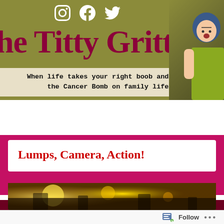The Titty Gritty — When life takes your right boob and drops the Cancer Bomb on family life…
MENU
Lumps, Camera, Action!
[Figure (photo): Concert/event photo strip with warm yellow and amber stage lighting]
Follow